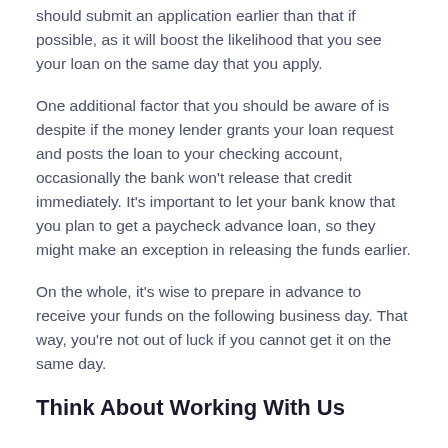should submit an application earlier than that if possible, as it will boost the likelihood that you see your loan on the same day that you apply.
One additional factor that you should be aware of is despite if the money lender grants your loan request and posts the loan to your checking account, occasionally the bank won't release that credit immediately. It's important to let your bank know that you plan to get a paycheck advance loan, so they might make an exception in releasing the funds earlier.
On the whole, it's wise to prepare in advance to receive your funds on the following business day. That way, you're not out of luck if you cannot get it on the same day.
Think About Working With Us